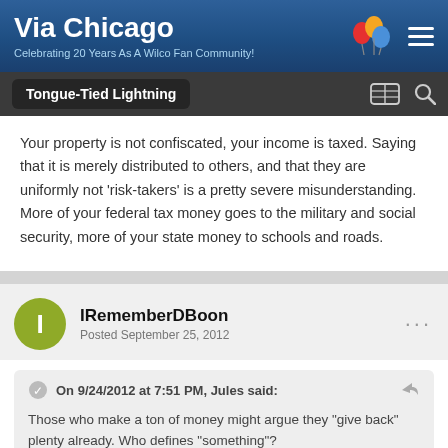Via Chicago — Celebrating 20 Years As A Wilco Fan Community!
Tongue-Tied Lightning
Your property is not confiscated, your income is taxed. Saying that it is merely distributed to others, and that they are uniformly not 'risk-takers' is a pretty severe misunderstanding. More of your federal tax money goes to the military and social security, more of your state money to schools and roads.
IRememberDBoon — Posted September 25, 2012
On 9/24/2012 at 7:51 PM, Jules said:
Those who make a ton of money might argue they "give back" plenty already. Who defines "something"?